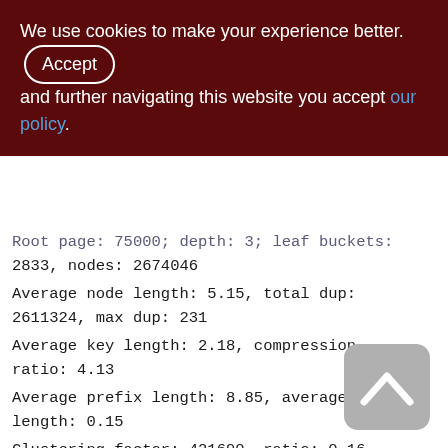We use cookies to make your experience better. By accepting and further navigating this website you accept our policy.
Root page: 75000; depth: 3; leaf buckets: 2833, nodes: 2674046
Average node length: 5.15, total dup: 2611324, max dup: 231
Average key length: 2.18, compression ratio: 4.13
Average prefix length: 8.85, average data length: 0.15
Clustering factor: 421690, ratio: 0.16
Fill distribution:
0 - 19% = 4
20 - 39% = 43
40 - 59% = 1615